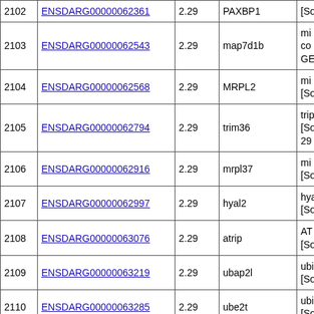|  | Gene ID | Score | Gene Name | Description |
| --- | --- | --- | --- | --- |
| 2102 | ENSDARG00000062361 | 2.29 | PAXBP1 | [So... |
| 2103 | ENSDARG00000062543 | 2.29 | map7d1b | mi... co... GE... |
| 2104 | ENSDARG00000062568 | 2.29 | MRPL2 | mi... [So... |
| 2105 | ENSDARG00000062794 | 2.29 | trim36 | tri... [So... 29... |
| 2106 | ENSDARG00000062916 | 2.29 | mrpl37 | mi... [So... |
| 2107 | ENSDARG00000062997 | 2.29 | hyal2 | hya... [So... |
| 2108 | ENSDARG00000063076 | 2.29 | atrip | AT... [So... |
| 2109 | ENSDARG00000063219 | 2.29 | ubap2l | ubi... [So... |
| 2110 | ENSDARG00000063285 | 2.29 | ube2t | ubi... [So... |
| 2111 | ENSDARG00000063297 | 2.29 | abcb6a | AT... (M... [So... |